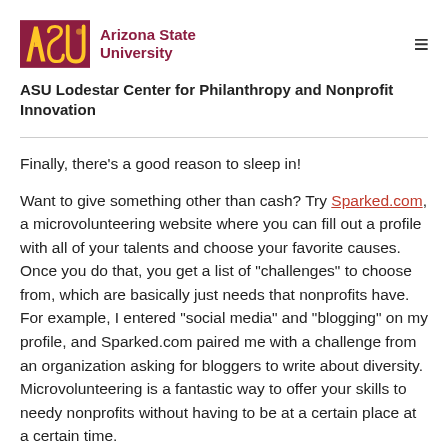ASU Arizona State University
ASU Lodestar Center for Philanthropy and Nonprofit Innovation
Finally, there's a good reason to sleep in!
Want to give something other than cash? Try Sparked.com, a microvolunteering website where you can fill out a profile with all of your talents and choose your favorite causes. Once you do that, you get a list of "challenges" to choose from, which are basically just needs that nonprofits have. For example, I entered "social media" and "blogging" on my profile, and Sparked.com paired me with a challenge from an organization asking for bloggers to write about diversity. Microvolunteering is a fantastic way to offer your skills to needy nonprofits without having to be at a certain place at a certain time.